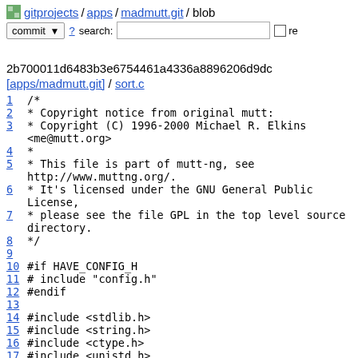gitprojects / apps / madmutt.git / blob
commit  ?  search:   re
2b700011d6483b3e6754461a4336a8896206d9dc
[apps/madmutt.git] / sort.c
1 /*
2  * Copyright notice from original mutt:
3  * Copyright (C) 1996-2000 Michael R. Elkins <me@mutt.org>
4  *
5  * This file is part of mutt-ng, see http://www.muttng.org/.
6  * It's licensed under the GNU General Public License,
7  * please see the file GPL in the top level source directory.
8  */
9
10 #if HAVE_CONFIG_H
11 # include "config.h"
12 #endif
13
14 #include <stdlib.h>
15 #include <string.h>
16 #include <ctype.h>
17 #include <unistd.h>
18